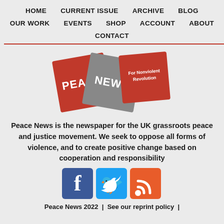HOME  CURRENT ISSUE  ARCHIVE  BLOG  OUR WORK  EVENTS  SHOP  ACCOUNT  ABOUT  CONTACT
[Figure (logo): Peace News logo: three overlapping diamond shapes in red, grey, and red with text PEACE, NEWS, For Nonviolent Revolution]
Peace News is the newspaper for the UK grassroots peace and justice movement. We seek to oppose all forms of violence, and to create positive change based on cooperation and responsibility
[Figure (illustration): Social media icons: Facebook (blue), Twitter (light blue), RSS feed (orange-red)]
Peace News 2022  |  See our reprint policy  |